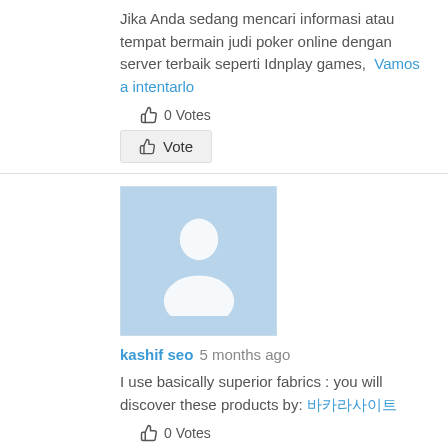Jika Anda sedang mencari informasi atau tempat bermain judi poker online dengan server terbaik seperti Idnplay games,  Vamos a intentarlo
👍 0 Votes
👍 Vote
[Figure (illustration): Default user avatar placeholder - blue background with white silhouette of a person]
kashif seo 5 months ago
I use basically superior fabrics : you will discover these products by: 바카라사이트
👍 0 Votes
👍 Vote
[Figure (illustration): Default user avatar placeholder - blue background with white silhouette of a person]